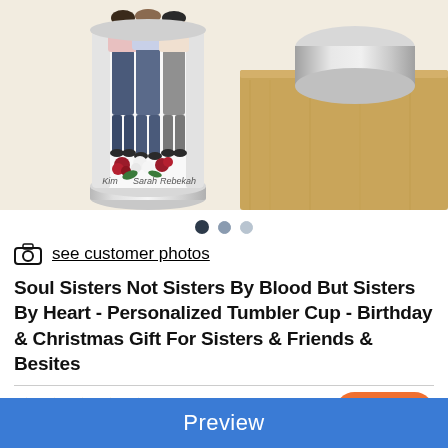[Figure (photo): Product photo of a personalized tumbler cup with illustrated women wearing jeans and floral decorations, names Kim, Sarah, Rebekah visible. A wooden board and silver object visible in background on cream/beige surface.]
see customer photos
Soul Sisters Not Sisters By Blood But Sisters By Heart - Personalized Tumbler Cup - Birthday & Christmas Gift For Sisters & Friends & Besites
4.97 (391 Reviews)
Preview